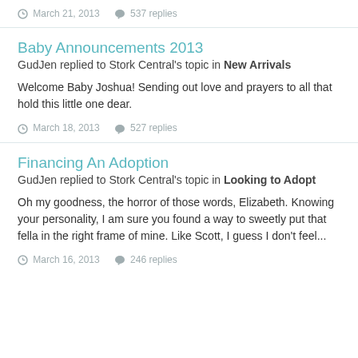March 21, 2013   537 replies
Baby Announcements 2013
GudJen replied to Stork Central's topic in New Arrivals
Welcome Baby Joshua! Sending out love and prayers to all that hold this little one dear.
March 18, 2013   527 replies
Financing An Adoption
GudJen replied to Stork Central's topic in Looking to Adopt
Oh my goodness, the horror of those words, Elizabeth. Knowing your personality, I am sure you found a way to sweetly put that fella in the right frame of mine. Like Scott, I guess I don't feel...
March 16, 2013   246 replies